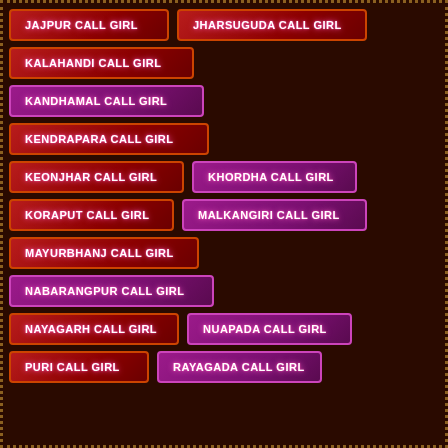JAJPUR CALL GIRL
JHARSUGUDA CALL GIRL
KALAHANDI CALL GIRL
KANDHAMAL CALL GIRL
KENDRAPARA CALL GIRL
KEONJHAR CALL GIRL
KHORDHA CALL GIRL
KORAPUT CALL GIRL
MALKANGIRI CALL GIRL
MAYURBHANJ CALL GIRL
NABARANGPUR CALL GIRL
NAYAGARH CALL GIRL
NUAPADA CALL GIRL
PURI CALL GIRL
RAYAGADA CALL GIRL